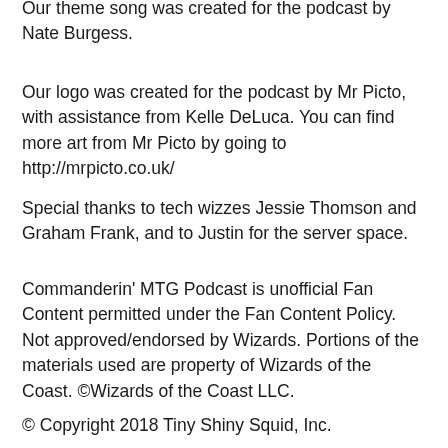Our theme song was created for the podcast by Nate Burgess.
Our logo was created for the podcast by Mr Picto, with assistance from Kelle DeLuca. You can find more art from Mr Picto by going to http://mrpicto.co.uk/
Special thanks to tech wizzes Jessie Thomson and Graham Frank, and to Justin for the server space.
Commanderin' MTG Podcast is unofficial Fan Content permitted under the Fan Content Policy. Not approved/endorsed by Wizards. Portions of the materials used are property of Wizards of the Coast. ©Wizards of the Coast LLC.
© Copyright 2018 Tiny Shiny Squid, Inc.